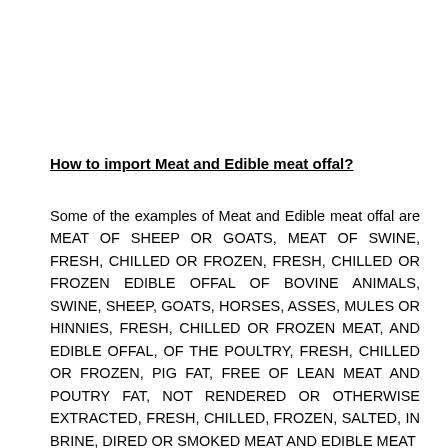How to import Meat and Edible meat offal?
Some of the examples of Meat and Edible meat offal are MEAT OF SHEEP OR GOATS, MEAT OF SWINE, FRESH, CHILLED OR FROZEN, FRESH, CHILLED OR FROZEN EDIBLE OFFAL OF BOVINE ANIMALS, SWINE, SHEEP, GOATS, HORSES, ASSES, MULES OR HINNIES, FRESH, CHILLED OR FROZEN MEAT, AND EDIBLE OFFAL, OF THE POULTRY, FRESH, CHILLED OR FROZEN, PIG FAT, FREE OF LEAN MEAT AND POUTRY FAT, NOT RENDERED OR OTHERWISE EXTRACTED, FRESH, CHILLED, FROZEN, SALTED, IN BRINE, DIRED OR SMOKED MEAT AND EDIBLE MEAT